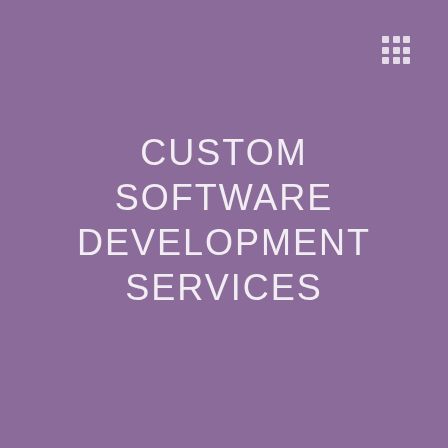[Figure (logo): 3x3 grid of white squares icon in upper right corner]
CUSTOM SOFTWARE DEVELOPMENT SERVICES